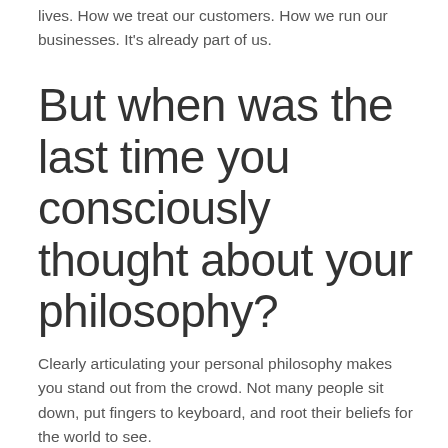lives. How we treat our customers. How we run our businesses. It's already part of us.
But when was the last time you consciously thought about your philosophy?
Clearly articulating your personal philosophy makes you stand out from the crowd. Not many people sit down, put fingers to keyboard, and root their beliefs for the world to see.
If you have read my book, Better than Average: Excelling in a Mediocre World, seen one of my